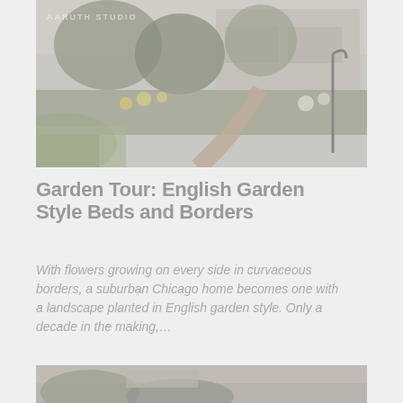[Figure (photo): Suburban Chicago home with English garden style beds and borders. Lush green and colorful flower borders line a curved brick pathway leading to a ranch-style house. Watermark text 'AARUTH STUDIO' visible in upper-left corner.]
Garden Tour: English Garden Style Beds and Borders
With flowers growing on every side in curvaceous borders, a suburban Chicago home becomes one with a landscape planted in English garden style. Only a decade in the making,…
[Figure (photo): Partial view of another garden photo at the bottom of the page, cropped.]